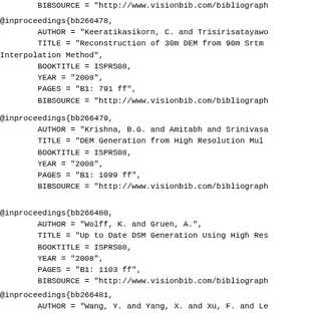BIBSOURCE = "http://www.visionbib.com/bibliograph
@inproceedings{bb266478,
        AUTHOR = "Keeratikasikorn, C. and Trisirisatayawo
        TITLE = "Reconstruction of 30m DEM from 90m Srtm
Interpolation Method",
        BOOKTITLE = ISPRS08,
        YEAR = "2008",
        PAGES = "B1: 791 ff",
        BIBSOURCE = "http://www.visionbib.com/bibliograph
@inproceedings{bb266479,
        AUTHOR = "Krishna, B.G. and Amitabh and Srinivasa
        TITLE = "DEM Generation from High Resolution Mul
        BOOKTITLE = ISPRS08,
        YEAR = "2008",
        PAGES = "B1: 1099 ff",
        BIBSOURCE = "http://www.visionbib.com/bibliograph
@inproceedings{bb266480,
        AUTHOR = "Wolff, K. and Gruen, A.",
        TITLE = "Up to Date DSM Generation Using High Res
        BOOKTITLE = ISPRS08,
        YEAR = "2008",
        PAGES = "B1: 1103 ff",
        BIBSOURCE = "http://www.visionbib.com/bibliograph
@inproceedings{bb266481,
        AUTHOR = "Wang, Y. and Yang, X. and Xu, F. and Le
        TITLE = "An operational System for Sensor Modeli